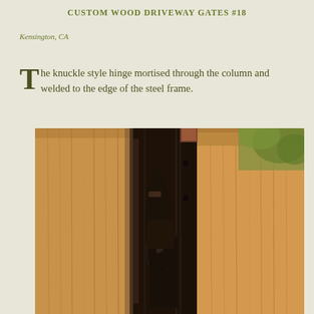Custom Wood Driveway Gates #18
Kensington, CA
The knuckle style hinge mortised through the column and welded to the edge of the steel frame.
[Figure (photo): Close-up photograph of a large black knuckle style hinge mortised through a natural wood post/column, with the hinge welded to the edge of a steel frame. The gate is constructed of vertical cedar or redwood planks in warm honey tones. A glimpse of green foliage is visible in the upper right background.]